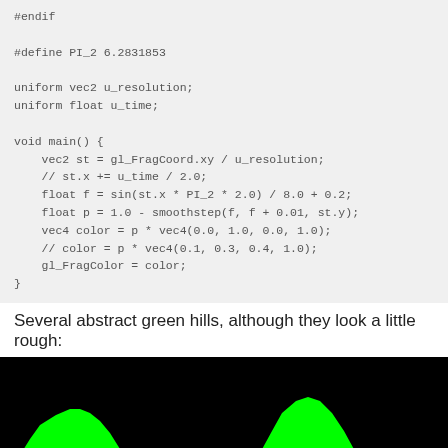#endif

#define PI_2 6.2831853

uniform vec2 u_resolution;
uniform float u_time;

void main() {
    vec2 st = gl_FragCoord.xy / u_resolution;
    // st.x += u_time / 2.0;
    float f = sin(st.x * PI_2 * 2.0) / 8.0 + 0.2;
    float p = 1.0 - smoothstep(f, f + 0.01, st.y);
    vec4 color = p * vec4(0.0, 1.0, 0.0, 1.0);
    // color = p * vec4(0.1, 0.3, 0.4, 1.0);
    gl_FragColor = color;
}
Several abstract green hills, although they look a little rough:
[Figure (illustration): A black background with bright green sine-wave hills rendered as a GLSL shader output. Two full green hill peaks are visible in the lower portion, with partial hills at the left and right edges.]